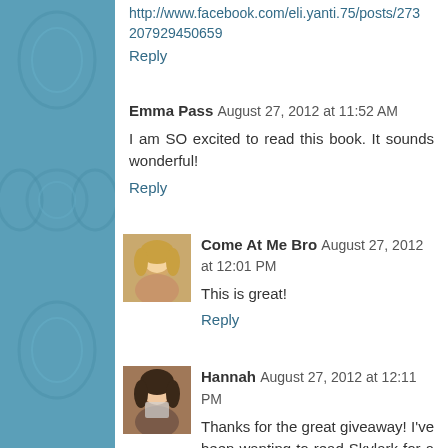http://www.facebook.com/eli.yanti.75/posts/273207929450659
Reply
Emma Pass  August 27, 2012 at 11:52 AM
I am SO excited to read this book. It sounds wonderful!
Reply
Come At Me Bro  August 27, 2012 at 12:01 PM
This is great!
Reply
Hannah  August 27, 2012 at 12:11 PM
Thanks for the great giveaway! I've been wanting to read Skylark for a while.